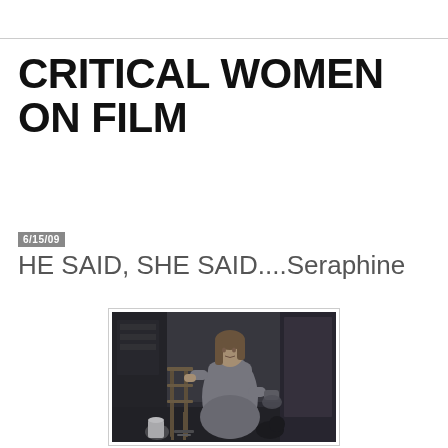CRITICAL WOMEN ON FILM
6/15/09
HE SAID, SHE SAID....Seraphine
[Figure (photo): A woman in a grey dress standing in what appears to be an artist's studio or workshop, surrounded by chairs and fabric/canvas backdrops, holding something in her hands, looking to the side.]